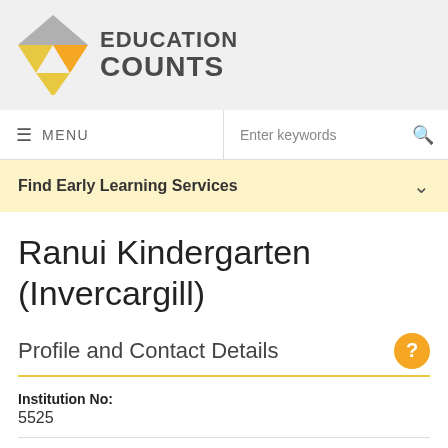[Figure (logo): Education Counts logo with triangular geometric mark in grey, gold and yellow, next to bold text EDUCATION COUNTS]
≡ MENU | Enter keywords 🔍
Find Early Learning Services ∨
Ranui Kindergarten (Invercargill)
Profile and Contact Details
Institution No:
5525